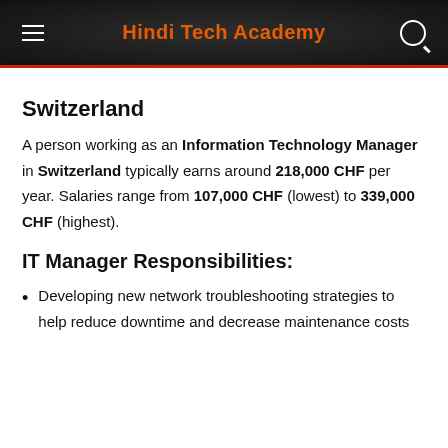Hindi Tech Academy
Switzerland
A person working as an Information Technology Manager in Switzerland typically earns around 218,000 CHF per year. Salaries range from 107,000 CHF (lowest) to 339,000 CHF (highest).
IT Manager Responsibilities:
Developing new network troubleshooting strategies to help reduce downtime and decrease maintenance costs